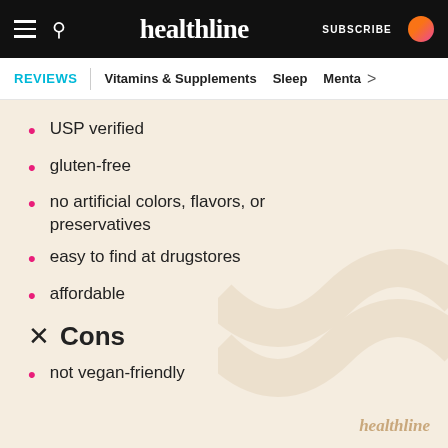healthline — SUBSCRIBE
REVIEWS | Vitamins & Supplements  Sleep  Menta >
USP verified
gluten-free
no artificial colors, flavors, or preservatives
easy to find at drugstores
affordable
✕ Cons
not vegan-friendly
healthline